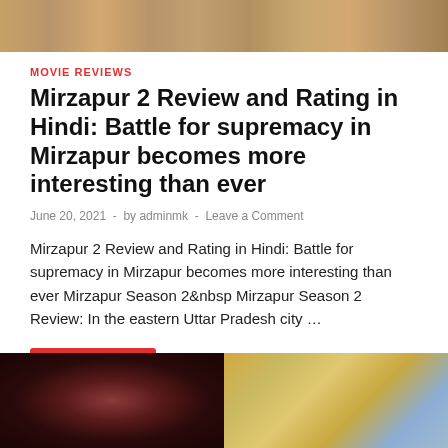[Figure (photo): Top banner image showing movie-related scene with warm brown/golden tones]
MOVIE REVIEWS
Mirzapur 2 Review and Rating in Hindi: Battle for supremacy in Mirzapur becomes more interesting than ever
June 20, 2021  -  by adminmk  -  Leave a Comment
Mirzapur 2 Review and Rating in Hindi: Battle for supremacy in Mirzapur becomes more interesting than ever Mirzapur Season 2&nbsp Mirzapur Season 2 Review: In the eastern Uttar Pradesh city …
READ MORE
[Figure (photo): Two images at the bottom: left shows a person with red-lit dark hair, right shows a couple in traditional/period costume with golden background]